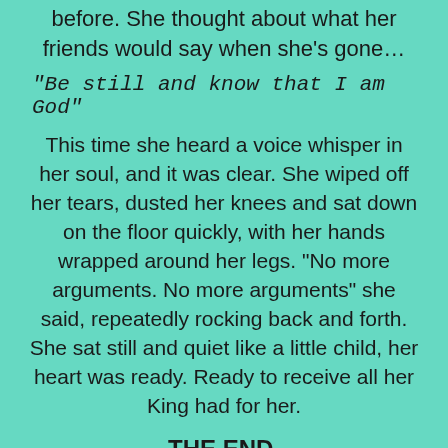before. She thought about what her friends would say when she's gone…
“Be still and know that I am God”
This time she heard a voice whisper in her soul, and it was clear. She wiped off her tears, dusted her knees and sat down on the floor quickly, with her hands wrapped around her legs. “No more arguments. No more arguments” she said, repeatedly rocking back and forth. She sat still and quiet like a little child, her heart was ready. Ready to receive all her King had for her.
THE END.
It’s often said that people connect best with